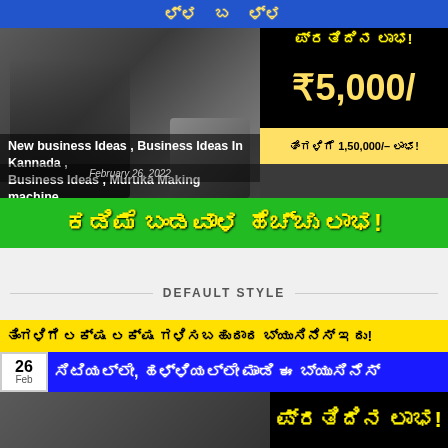[Figure (screenshot): YouTube thumbnail for a Kannada business ideas video showing a woman operating a muruka making machine, with blue top banner showing Kannada text, price overlay showing ₹5,000/-, yellow block showing monthly profit of 1,50,000/-, and green bottom banner with Kannada text about low investment high profit]
New business Ideas , Business Ideas In Kannada , Business Ideas , Muruka Making machine
February 26, 2022
DEFAULT STYLE
[Figure (screenshot): Second YouTube thumbnail card with yellow title bar showing Kannada text about earning lakhs per month, blue row with date badge showing 26 Feb and Kannada subtitle text, bottom half showing woman with machine and black overlay with Kannada text ಪ್ರತಿದಿನ ಲಾಭ!]